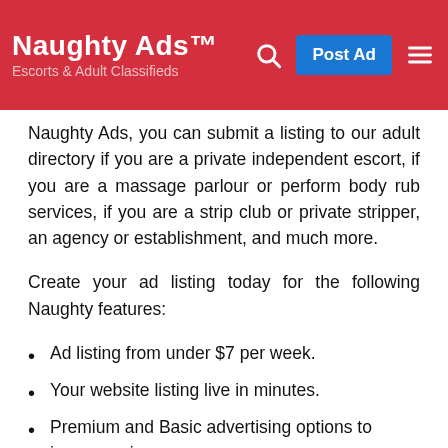Naughty Ads™ Escorts & Adult Classifieds
Naughty Ads, you can submit a listing to our adult directory if you are a private independent escort, if you are a massage parlour or perform body rub services, if you are a strip club or private stripper, an agency or establishment, and much more.
Create your ad listing today for the following Naughty features:
Ad listing from under $7 per week.
Your website listing live in minutes.
Premium and Basic advertising options to increase views.
Advertiser support available.
Be part of Australia's fastest growing adult classifieds.
Let your customers know what you expect from